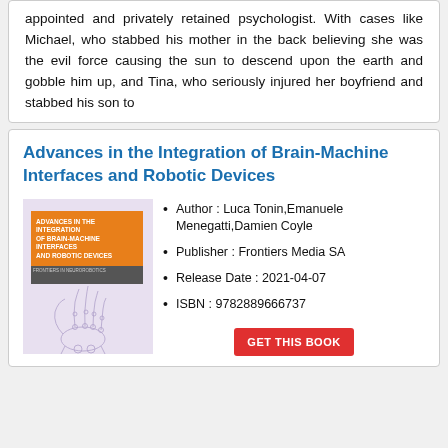appointed and privately retained psychologist. With cases like Michael, who stabbed his mother in the back believing she was the evil force causing the sun to descend upon the earth and gobble him up, and Tina, who seriously injured her boyfriend and stabbed his son to
Advances in the Integration of Brain-Machine Interfaces and Robotic Devices
Author : Luca Tonin,Emanuele Menegatti,Damien Coyle
Publisher : Frontiers Media SA
Release Date : 2021-04-07
ISBN : 9782889666737
[Figure (illustration): Book cover of 'Advances in the Integration of Brain-Machine Interfaces and Robotic Devices' with orange title bar and sketch of robotic hand]